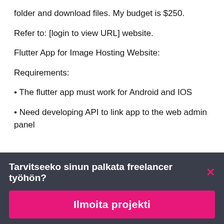folder and download files. My budget is $250.
Refer to: [login to view URL] website.
Flutter App for Image Hosting Website:
Requirements:
• The flutter app must work for Android and IOS
• Need developing API to link app to the web admin panel
Tarvitseeko sinun palkata freelancer työhön?
Ilmoita projekti